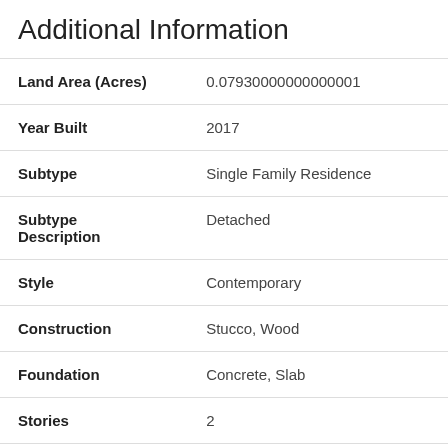Additional Information
| Field | Value |
| --- | --- |
| Land Area (Acres) | 0.07930000000000001 |
| Year Built | 2017 |
| Subtype | Single Family Residence |
| Subtype Description | Detached |
| Style | Contemporary |
| Construction | Stucco, Wood |
| Foundation | Concrete, Slab |
| Stories | 2 |